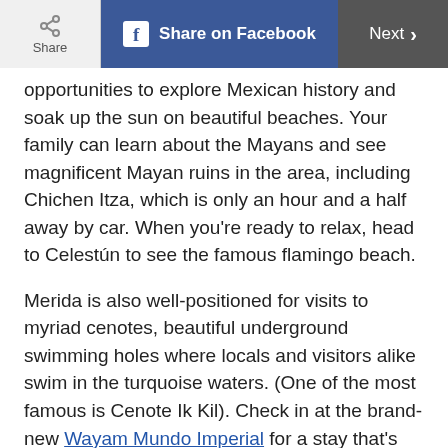Share | Share on Facebook | Next >
opportunities to explore Mexican history and soak up the sun on beautiful beaches. Your family can learn about the Mayans and see magnificent Mayan ruins in the area, including Chichen Itza, which is only an hour and a half away by car. When you're ready to relax, head to Celestún to see the famous flamingo beach.
Merida is also well-positioned for visits to myriad cenotes, beautiful underground swimming holes where locals and visitors alike swim in the turquoise waters. (One of the most famous is Cenote Ik Kil). Check in at the brand-new Wayam Mundo Imperial for a stay that's not only comfy but green and LEED-certified, too. Bonus: You can